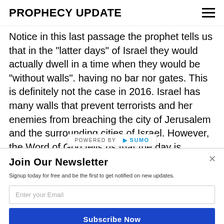PROPHECY UPDATE
Notice in this last passage the prophet tells us that in the "latter days" of Israel they would actually dwell in a time when they would be "without walls". having no bar nor gates. This is definitely not the case in 2016. Israel has many walls that prevent terrorists and her enemies from breaching the city of Jerusalem and the surrounding cities of Israel. However, the Word of God tells us that the day is coming that th... a false sense of
Join Our Newsletter
Signup today for free and be the first to get notified on new updates.
Enter your Email
Subscribe Now